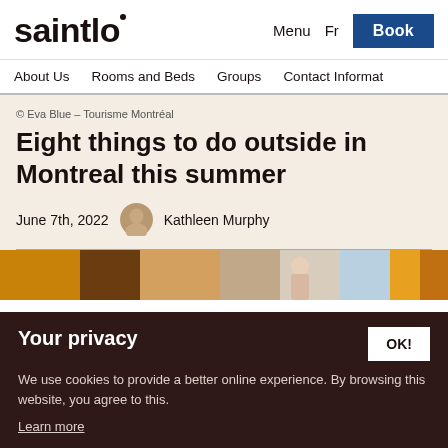saintlo  Menu  Fr  Book
About Us  Rooms and Beds  Groups  Contact Informat
© Eva Blue – Tourisme Montréal
Eight things to do outside in Montreal this summer
June 7th, 2022   Kathleen Murphy
[Figure (photo): Partial photo strip showing outdoor Montreal scene]
Your privacy
We use cookies to provide a better online experience. By browsing this website, you agree to this.
Learn more